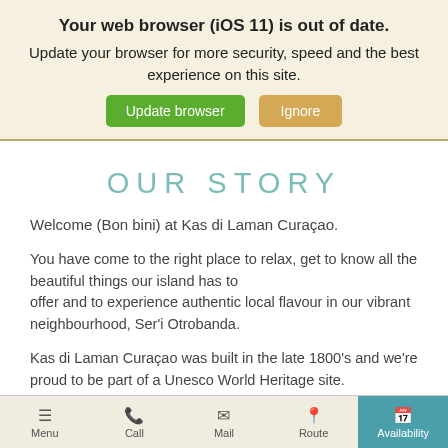Your web browser (iOS 11) is out of date. Update your browser for more security, speed and the best experience on this site.
[Figure (screenshot): Two buttons: green 'Update browser' and tan/orange 'Ignore']
OUR STORY
Welcome (Bon bini) at Kas di Laman Curaçao.
You have come to the right place to relax, get to know all the beautiful things our island has to offer and to experience authentic local flavour in our vibrant neighbourhood, Ser'i Otrobanda.
Kas di Laman Curaçao was built in the late 1800's and we're proud to be part of a Unesco World Heritage site.
Kas di Laman is spread over six historical town houses. Featuring 2 studios,11 one-or two-bedroom apartments and a one-bedroom Romantic Suite, right in the heart of
Menu | Call | Mail | Route | Availability